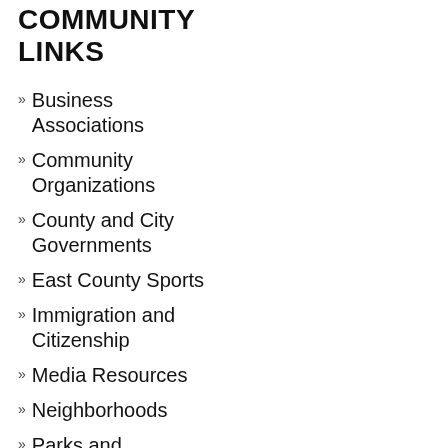COMMUNITY LINKS
Business Associations
Community Organizations
County and City Governments
East County Sports
Immigration and Citizenship
Media Resources
Neighborhoods
Parks and Environmental Resources
Police and Sheriff Contacts